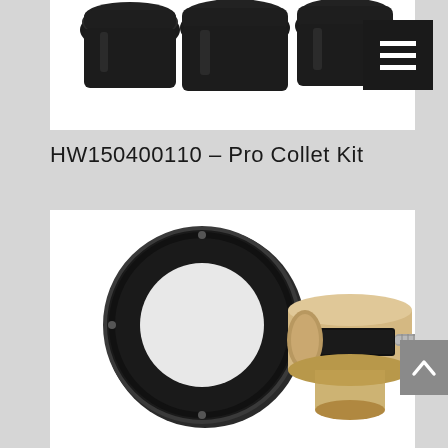[Figure (photo): Top portion of a Pro Collet Kit product image showing dark rubber/plastic collet components on a white background]
HW150400110 – Pro Collet Kit
[Figure (photo): Close-up photo of Pro Collet Kit components: a black circular ring/gasket on the left and a metallic hub assembly with a bolt on the right, on a white background]